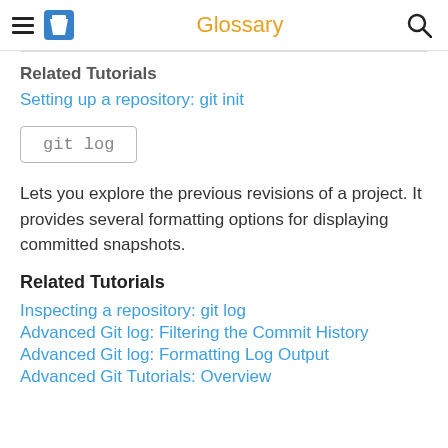Glossary
Related Tutorials
Setting up a repository: git init
git log
Lets you explore the previous revisions of a project. It provides several formatting options for displaying committed snapshots.
Related Tutorials
Inspecting a repository: git log
Advanced Git log: Filtering the Commit History
Advanced Git log: Formatting Log Output
Advanced Git Tutorials: Overview